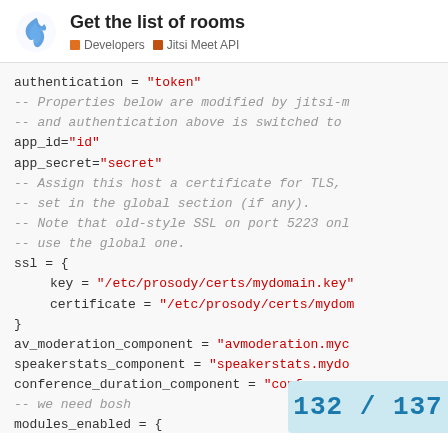Get the list of rooms
Tags: Developers, Jitsi Meet API
authentication = "token"
-- Properties below are modified by jitsi-m
-- and authentication above is switched to
app_id="id"
app_secret="secret"
-- Assign this host a certificate for TLS,
-- set in the global section (if any).
-- Note that old-style SSL on port 5223 onl
-- use the global one.
ssl = {
    key = "/etc/prosody/certs/mydomain.key"
    certificate = "/etc/prosody/certs/mydom
}
av_moderation_component = "avmoderation.myc
speakerstats_component = "speakerstats.mydo
conference_duration_component = "conference
-- we need bosh
modules_enabled = {
    "bosh";